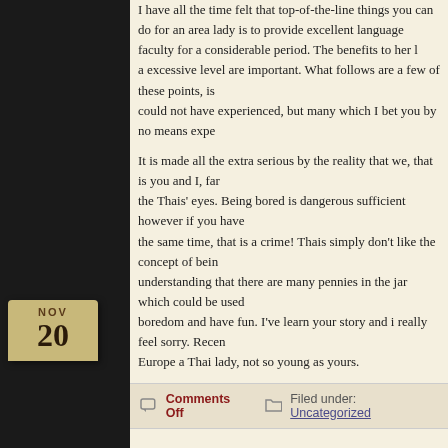I have all the time felt that top-of-the-line things you can do for an area lady is to provide excellent language faculty for a considerable period. The benefits to her l a excessive level are important. What follows are a few of these points, is could not have experienced, but many which I bet you by no means expe
It is made all the extra serious by the reality that we, that is you and I, far the Thais' eyes. Being bored is dangerous sufficient however if you have the same time, that is a crime! Thais simply don't like the concept of bein understanding that there are many pennies in the jar which could be used boredom and have fun. I've learn your story and i really feel sorry. Recen Europe a Thai lady, not so young as yours.
Comments Off   Filed under: Uncategorized
Philippines Women: Pros And Cons
Author: wahyudiarto
A Filipina beauty has a magnetic appeal that may persuade anyone. The character is a bonus on top of everything else. As your relationship progr the value of getting such a beautiful wife.
A Secret Weapon For Filipino Women